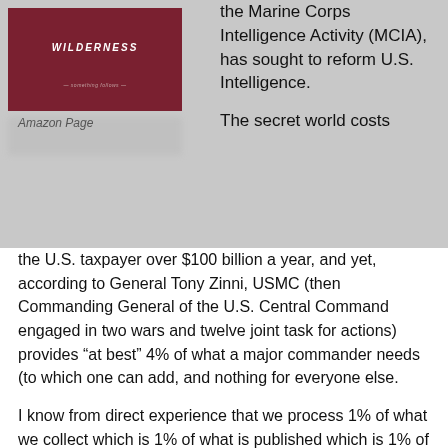[Figure (photo): Book cover with dark red/maroon background and white italic title text including the word 'Wilderness']
Amazon Page
the Marine Corps Intelligence Activity (MCIA), has sought to reform U.S. Intelligence.

The secret world costs the U.S. taxpayer over $100 billion a year, and yet, according to General Tony Zinni, USMC (then Commanding General of the U.S. Central Command engaged in two wars and twelve joint task for actions) provides “at best” 4% of what a major commander needs (to which one can add, and nothing for everyone else.
I know from direct experience that we process 1% of what we collect which is 1% of what is published which is 1% of what is written which is 1% of what is known. The reality is that decisions are made every day at every level that are bought and paid for, not based on evidence, and not in the public interest.